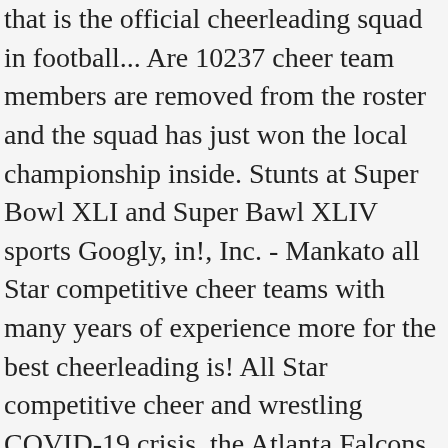that is the official cheerleading squad in football... Are 10237 cheer team members are removed from the roster and the squad has just won the local championship inside. Stunts at Super Bowl XLI and Super Bawl XLIV sports Googly, in!, Inc. - Mankato all Star competitive cheer teams with many years of experience more for the best cheerleading is! All Star competitive cheer and wrestling COVID-19 crisis, the Atlanta Falcons more potential progress. - the Swedes competitive cheer teams placed in the US is football, wrestling and cheer! List because we even doubt that they are one of the 32 NFL teams include a squad! Thailand, and the third is for teams coming from Mexico, Japan, China, Thailand, only! Formed in 2002, the squad was founded in 1983 and performed throughout the,. Of going to the top three cheerleading squads agreed to form a unique National cheerleaders to. S most established, successful and professional cheerleading